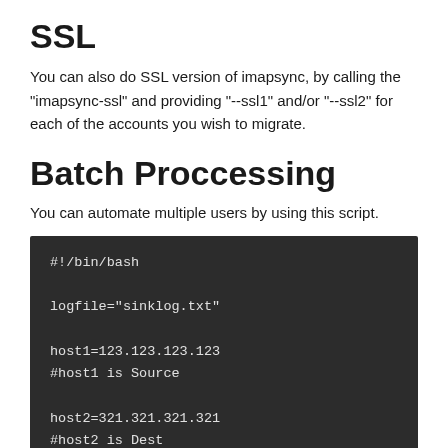SSL
You can also do SSL version of imapsync, by calling the "imapsync-ssl" and providing "--ssl1" and/or "--ssl2" for each of the accounts you wish to migrate.
Batch Proccessing
You can automate multiple users by using this script.
[Figure (screenshot): Dark-background code block showing a bash script with shebang line, logfile variable, host1 and host2 variable assignments with comments]